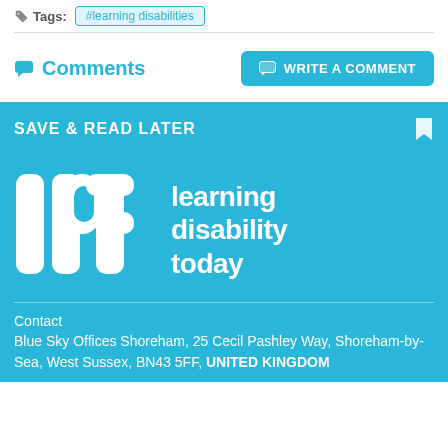Tags: #learning disabilities
Comments
WRITE A COMMENT
SAVE & READ LATER
[Figure (logo): Learning Disability Today logo — large white stylized 'ldt' letters beside 'learning disability today' text, on cyan/blue background]
Contact
Blue Sky Offices Shoreham, 25 Cecil Pashley Way, Shoreham-by-Sea, West Sussex, BN43 5FF, UNITED KINGDOM